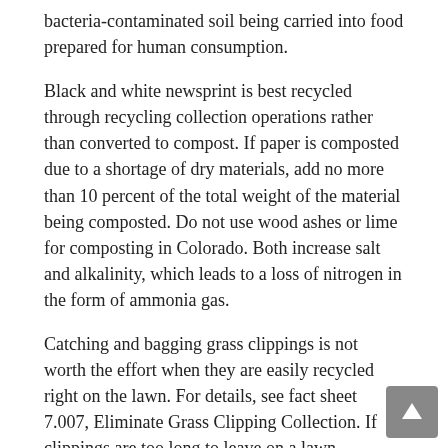bacteria-contaminated soil being carried into food prepared for human consumption.
Black and white newsprint is best recycled through recycling collection operations rather than converted to compost. If paper is composted due to a shortage of dry materials, add no more than 10 percent of the total weight of the material being composted. Do not use wood ashes or lime for composting in Colorado. Both increase salt and alkalinity, which leads to a loss of nitrogen in the form of ammonia gas.
Catching and bagging grass clippings is not worth the effort when they are easily recycled right on the lawn. For details, see fact sheet 7.007, Eliminate Grass Clipping Collection. If clippings are too long to leave on a lawn, composting is a better alternative than disposal in the trash. Some weeds can be composted, particularly if they are pulled before they produce seed. Compost mainly serves to reduce the volume of yard wastes and convert plant materials into a usable soil amendment. Adding excessive amounts of other materials,